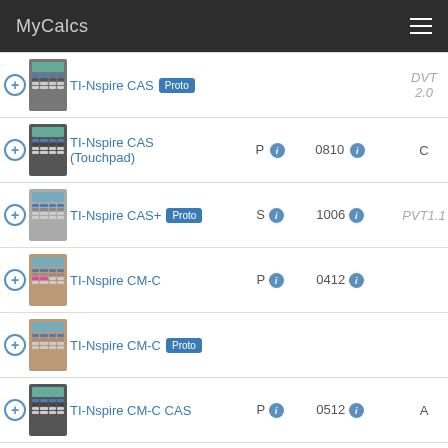MyCalcs
| Calculator | Grade | Date | Rev |
| --- | --- | --- | --- |
| TI-Nspire CAS [Proto] |  |  | DVT 2.0 |
| TI-Nspire CAS (Touchpad) | P | 0810 | C |
| TI-Nspire CAS+ [Proto] | S | 1006 | PVT1.1 |
| TI-Nspire CM-C | P | 0412 |  |
| TI-Nspire CM-C [Proto] |  |  |  |
| TI-Nspire CM-C CAS | P | 0512 | A |
| TI-Nspire CX | P | 0315 | V |